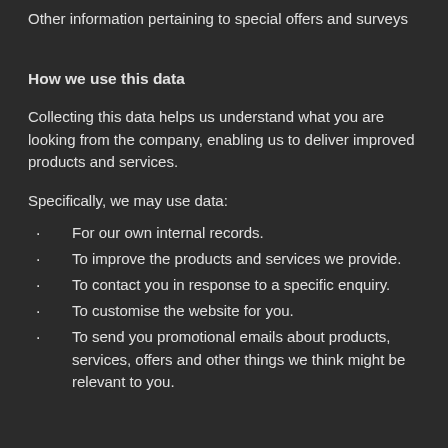Other information pertaining to special offers and surveys
How we use this data
Collecting this data helps us understand what you are looking from the company, enabling us to deliver improved products and services.
Specifically, we may use data:
For our own internal records.
To improve the products and services we provide.
To contact you in response to a specific enquiry.
To customise the website for you.
To send you promotional emails about products, services, offers and other things we think might be relevant to you.